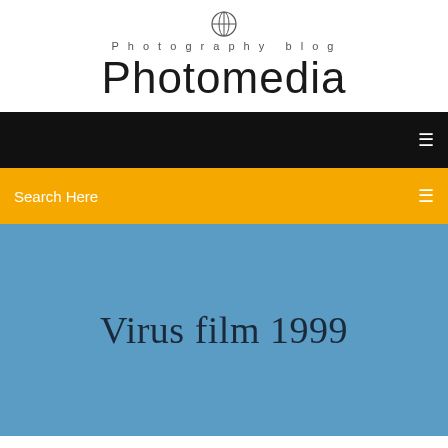Photography blog
Photomedia
[Figure (other): Black navigation bar with hamburger/menu icon on the right]
[Figure (other): Yellow/amber search bar with 'Search Here' text on the left and a menu icon on the right]
Virus film 1999